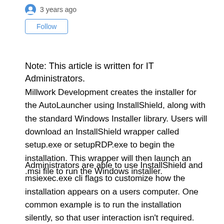3 years ago
Follow
Note: This article is written for IT Administrators.
Millwork Development creates the installer for the AutoLauncher using InstallShield, along with the standard Windows Installer library. Users will download an InstallShield wrapper called setup.exe or setupRDP.exe to begin the installation. This wrapper will then launch an .msi file to run the Windows installer.
Administrators are able to use InstallShield and msiexec.exe cli flags to customize how the installation appears on a users computer. One common example is to run the installation silently, so that user interaction isn't required. This can be accomplished by running these flags via cmd.exe or with PowerShell: